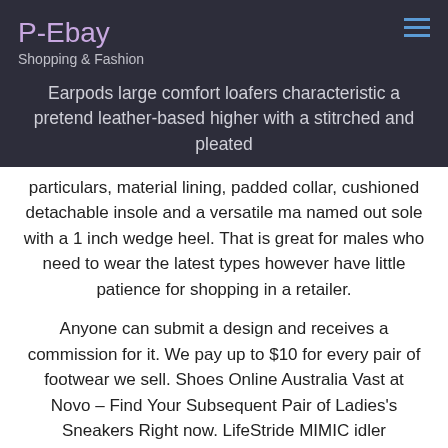P-Ebay
Shopping & Fashion
Earpods large comfort loafers characteristic a pretend leather-based higher with a stitrched and pleated particulars, material lining, padded collar, cushioned detachable insole and a versatile ma named out sole with a 1 inch wedge heel. That is great for males who need to wear the latest types however have little patience for shopping in a retailer.
Anyone can submit a design and receives a commission for it. We pay up to $10 for every pair of footwear we sell. Shoes Online Australia Vast at Novo – Find Your Subsequent Pair of Ladies's Sneakers Right now. LifeStride MIMIC idler incorporates a faux leather-based higher, a moc toe, a hardware detail on the vamp, cushioned foot mattress and a person made out sole with a 1 inch wedge heel.